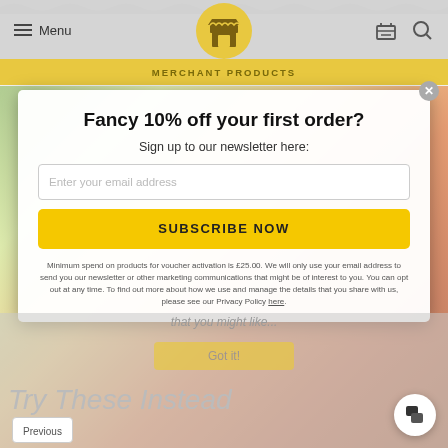[Figure (screenshot): Website header with hamburger Menu icon, store logo (market stall icon in golden circle), cart icon, and search icon on grey background with wavy stripe pattern at top]
MERCHANT PRODUCTS
Fancy 10% off your first order?
Sign up to our newsletter here:
Enter your email address
SUBSCRIBE NOW
Minimum spend on products for voucher activation is £25.00. We will only use your email address to send you our newsletter or other marketing communications that might be of interest to you. You can opt out at any time. To find out more about how we use and manage the details that you share with us, please see our Privacy Policy here.
that you might like...
Got it!
Try These Instead
Previous